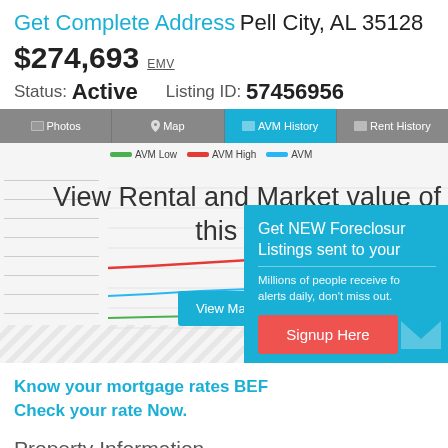Get Complete Address Pell City, AL 35128
$274,693 EMV
Status: Active   Listing ID: 57456956
[Figure (continuous-plot): AVM History line chart showing AVM Low (green), AVM High (red), and AVM (blue) lines over time. The chart is partially obscured by overlaid text and a popup modal.]
View Rental and Market value of this property
Get NEW Foreclosure Listings sent to your inbox. Millions of people receive foreclosure alerts daily, don't miss out. Signup Here. No Thanks | Remind Me Later
Know your mortgage rates BEFORE you buy. Check your rate Now.
Property Information